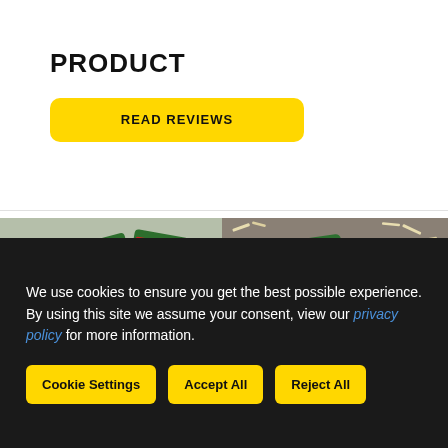PRODUCT
READ REVIEWS
[Figure (photo): Two green Knorr product packets on straw/hay with tomatoes in background, blue bowl visible, top-down view]
[Figure (photo): Knorr product packet on grey surface with bowl of soup and shredded cheese/toppings scattered around]
We use cookies to ensure you get the best possible experience. By using this site we assume your consent, view our privacy policy for more information.
Cookie Settings
Accept All
Reject All